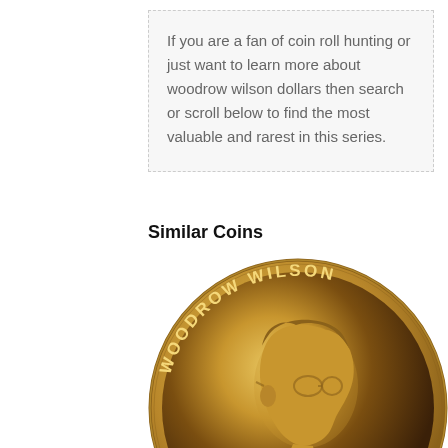If you are a fan of coin roll hunting or just want to learn more about woodrow wilson dollars then search or scroll below to find the most valuable and rarest in this series.
Similar Coins
[Figure (photo): A gold-colored Woodrow Wilson Presidential Dollar coin showing his portrait in profile facing left, with 'WOODROW WILSON' inscribed along the top arc, 'IN GOD WE' visible at the bottom left, and '1913-1921' at the bottom right.]